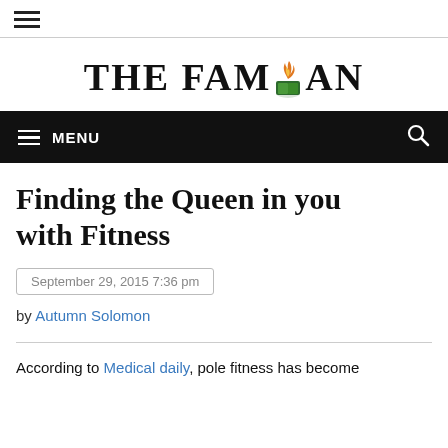[Figure (logo): Hamburger menu icon (three horizontal lines) in top-left corner]
[Figure (logo): The Famuan newspaper logo with stylized torch/flame icon replacing the U in FAMUAN]
[Figure (other): Black navigation bar with hamburger icon, MENU text, and search icon]
Finding the Queen in you with Fitness
September 29, 2015 7:36 pm
by Autumn Solomon
According to Medical daily, pole fitness has become